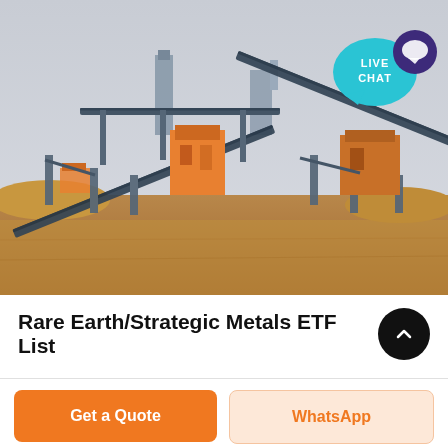[Figure (photo): Industrial mining or mineral processing facility with large conveyor belts, heavy machinery, and orange/brown earthen ground. Gray sky overhead. A 'LIVE CHAT' speech bubble icon is overlaid in the top-right corner.]
Rare Earth/Strategic Metals ETF List
Get a Quote
WhatsApp